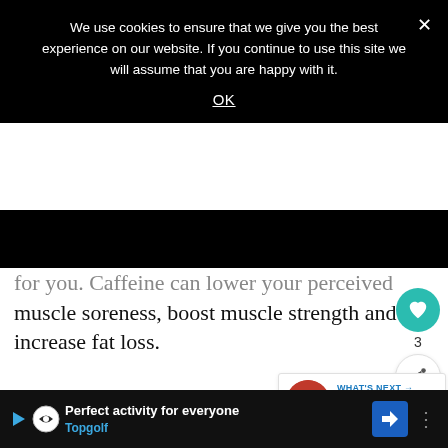We use cookies to ensure that we give you the best experience on our website. If you continue to use this site we will assume that you are happy with it.
OK
for you. Caffeine can lower your perceived muscle soreness, boost muscle strength and increase fat loss.
And there you have it, our top ten best supplements for women. We hope to have brought some dilemmas about your health and fitness to a close, as we went down to point about some of the more used and also some of the lesser-known supplements out
[Figure (other): What's Next widget showing Medicare Part B Guide with circular image thumbnail]
Perfect activity for everyone Topgolf